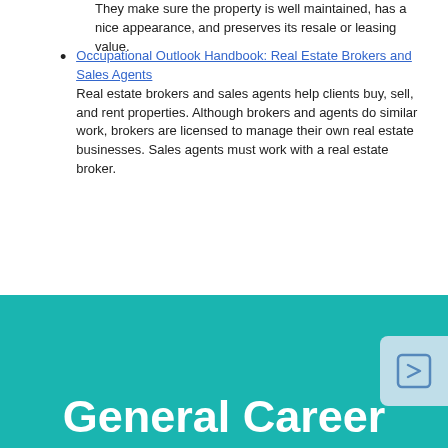They make sure the property is well maintained, has a nice appearance, and preserves its resale or leasing value.
Occupational Outlook Handbook: Real Estate Brokers and Sales Agents
Real estate brokers and sales agents help clients buy, sell, and rent properties. Although brokers and agents do similar work, brokers are licensed to manage their own real estate businesses. Sales agents must work with a real estate broker.
General Career Information
Career Research Guide
ACC Career Services
Find out how to:
-pick a major
-find a job
-discover a career